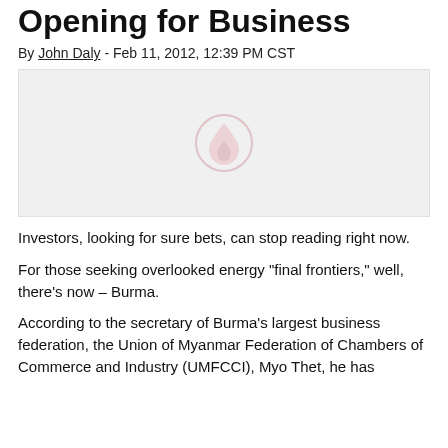Opening for Business
By John Daly - Feb 11, 2012, 12:39 PM CST
[Figure (photo): Placeholder image with a watermark logo (stylized droplet/flame icon) on a light gray background]
Investors, looking for sure bets, can stop reading right now.
For those seeking overlooked energy "final frontiers," well, there's now – Burma.
According to the secretary of Burma's largest business federation, the Union of Myanmar Federation of Chambers of Commerce and Industry (UMFCCI), Myo Thet, he has